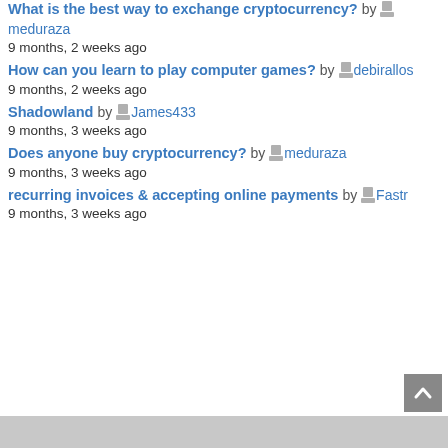What is the best way to exchange cryptocurrency? by meduraza
9 months, 2 weeks ago
How can you learn to play computer games? by debirallos
9 months, 2 weeks ago
Shadowland by James433
9 months, 3 weeks ago
Does anyone buy cryptocurrency? by meduraza
9 months, 3 weeks ago
recurring invoices & accepting online payments by Fastr
9 months, 3 weeks ago